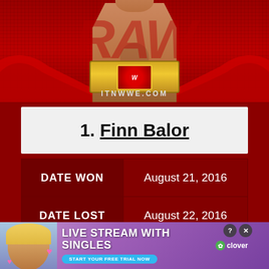[Figure (photo): WWE promotional image showing a shirtless wrestler (Finn Balor) holding a WWE Universal Championship belt, with a red background featuring a grid pattern and WWE logo. URL ITNWWE.COM shown at bottom of image.]
1. Finn Balor
| DATE WON | August 21, 2016 |
| DATE LOST | August 22, 2016 |
[Figure (photo): Advertisement banner: 'LIVE STREAM WITH SINGLES' with a blonde woman and Clover branding. CTA button reads 'START YOUR FREE TRIAL NOW'.]